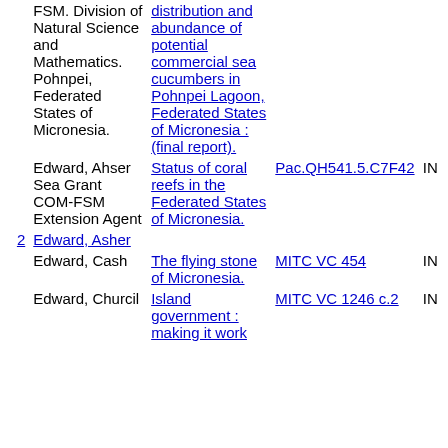| # | Author | Title | Call Number | Status |
| --- | --- | --- | --- | --- |
|  | FSM. Division of Natural Science and Mathematics. Pohnpei, Federated States of Micronesia. | distribution and abundance of potential commercial sea cucumbers in Pohnpei Lagoon, Federated States of Micronesia : (final report). |  |  |
|  | Edward, Ahser Sea Grant COM-FSM Extension Agent | Status of coral reefs in the Federated States of Micronesia. | Pac.QH541.5.C7F42 | IN |
| 2 | Edward, Asher |  |  |  |
|  | Edward, Cash | The flying stone of Micronesia. | MITC VC 454 | IN |
|  | Edward, Churcil | Island government : making it work | MITC VC 1246 c.2 | IN |